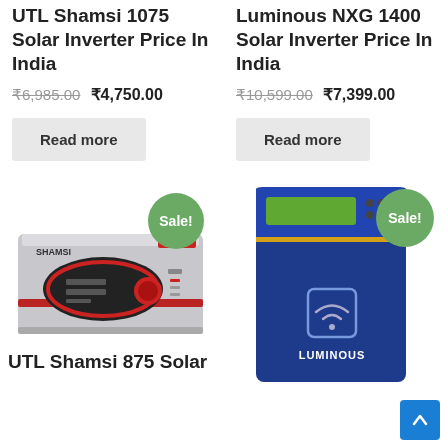UTL Shamsi 1075 Solar Inverter Price In India
₹6,985.00 ₹4,750.00
Read more
Luminous NXG 1400 Solar Inverter Price In India
₹10,599.00 ₹7,399.00
Read more
[Figure (photo): UTL Shamsi 875 Solar Inverter product image with Sale! badge]
[Figure (photo): Luminous NXG solar inverter (blue vertical unit) with Sale! badge]
UTL Shamsi 875 Solar